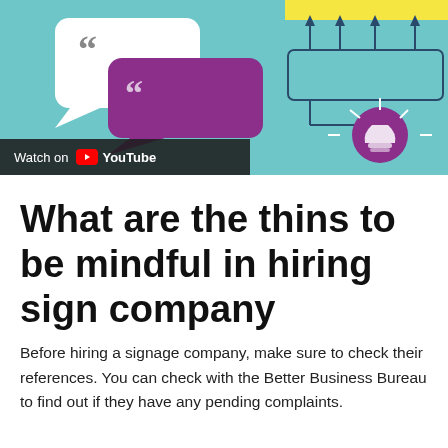[Figure (screenshot): YouTube video thumbnail showing speech bubbles with quotation marks on a teal background with a purple lightbulb and network diagram, with a 'Watch on YouTube' overlay at the bottom left.]
What are the thins to be mindful in hiring sign company
Before hiring a signage company, make sure to check their references. You can check with the Better Business Bureau to find out if they have any pending complaints.